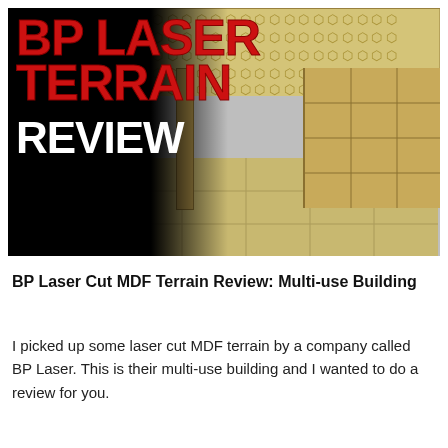[Figure (photo): Photo of a laser cut MDF terrain building model (multi-use building) with hexagonal roof pattern, wooden wall panels, and miniature figures. Overlaid on the left with large red bold text 'BP LASER TERRAIN' and white bold text 'REVIEW' on a black background.]
BP Laser Cut MDF Terrain Review: Multi-use Building
I picked up some laser cut MDF terrain by a company called BP Laser. This is their multi-use building and I wanted to do a review for you.